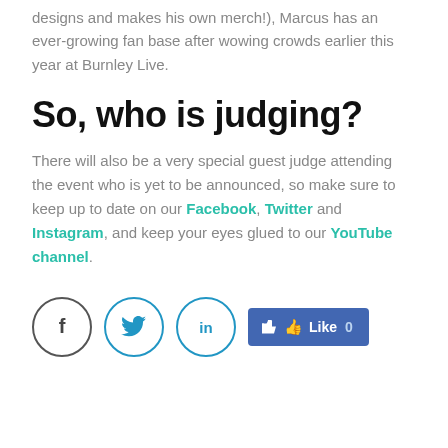designs and makes his own merch!), Marcus has an ever-growing fan base after wowing crowds earlier this year at Burnley Live.
So, who is judging?
There will also be a very special guest judge attending the event who is yet to be announced, so make sure to keep up to date on our Facebook, Twitter and Instagram, and keep your eyes glued to our YouTube channel.
[Figure (infographic): Social media share buttons: Facebook circle icon, Twitter circle icon, LinkedIn circle icon, and a Facebook Like button showing 0 likes]